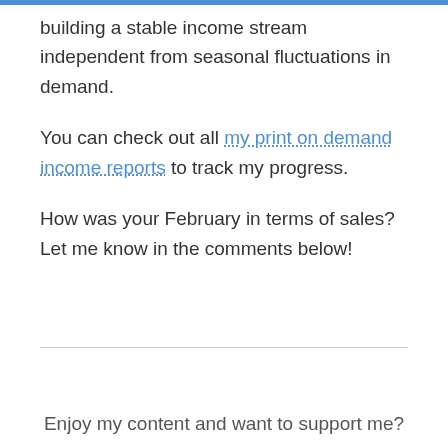building a stable income stream independent from seasonal fluctuations in demand.
You can check out all my print on demand income reports to track my progress.
How was your February in terms of sales? Let me know in the comments below!
Enjoy my content and want to support me?